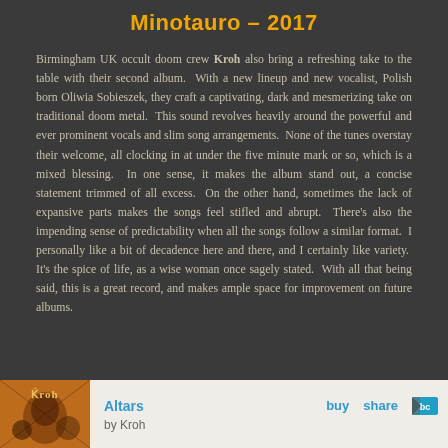Minotauro – 2017
Birmingham UK occult doom crew Kroh also bring a refreshing take to the table with their second album. With a new lineup and new vocalist, Polish born Oliwia Sobieszek, they craft a captivating, dark and mesmerizing take on traditional doom metal. This sound revolves heavily around the powerful and ever prominent vocals and slim song arrangements. None of the tunes overstay their welcome, all clocking in at under the five minute mark or so, which is a mixed blessing. In one sense, it makes the album stand out, a concise statement trimmed of all excess. On the other hand, sometimes the lack of expansive parts makes the songs feel stifled and abrupt. There's also the impending sense of predictability when all the songs follow a similar format. I personally like a bit of decadence here and there, and I certainly like variety. It's the spice of life, as a wise woman once sagely stated. With all that being said, this is a great record, and makes ample space for improvement on future albums.
[Figure (other): Bandcamp embedded player showing Kroh album 'Altars' with album art, buy and share buttons, and Bandcamp logo]